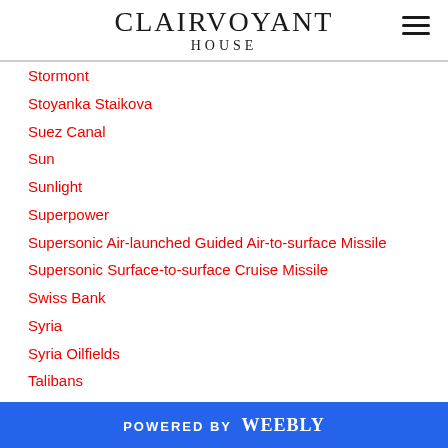CLAIRVOYANT
Stormont
Stoyanka Staikova
Suez Canal
Sun
Sunlight
Superpower
Supersonic Air-launched Guided Air-to-surface Missile
Supersonic Surface-to-surface Cruise Missile
Swiss Bank
Syria
Syria Oilfields
Talibans
Tax Advantages
Tax Haven
Tax Mitigation
POWERED BY weebly